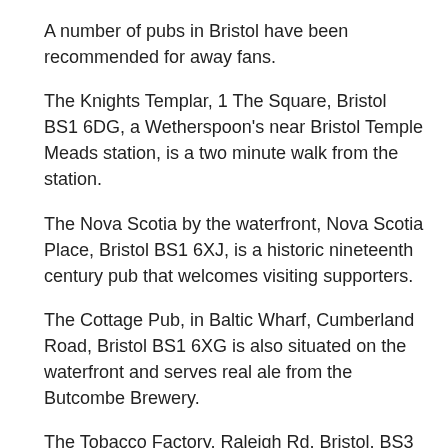A number of pubs in Bristol have been recommended for away fans.
The Knights Templar, 1 The Square, Bristol BS1 6DG, a Wetherspoon's near Bristol Temple Meads station, is a two minute walk from the station.
The Nova Scotia by the waterfront, Nova Scotia Place, Bristol BS1 6XJ, is a historic nineteenth century pub that welcomes visiting supporters.
The Cottage Pub, in Baltic Wharf, Cumberland Road, Bristol BS1 6XG is also situated on the waterfront and serves real ale from the Butcombe Brewery.
The Tobacco Factory, Raleigh Rd, Bristol, BS3 1TF, is about five minutes walk from the away stand entrance, welcomes visiting supporters and serves good food.